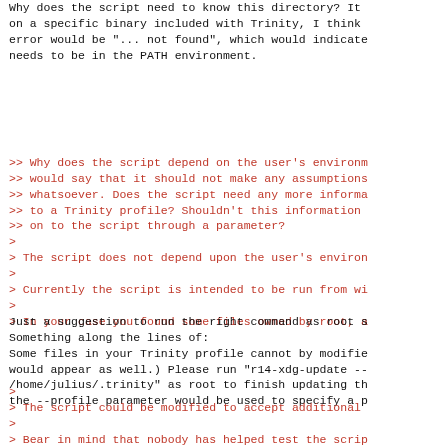Why does the script need to know this directory? It
on a specific binary included with Trinity, I think
error would be "... not found", which would indicate
needs to be in the PATH environment.
>> Why does the script depend on the user's environm
>> would say that it should not make any assumptions
>> whatsoever. Does the script need any more informa
>> to a Trinity profile? Shouldn't this information
>> on to the script through a parameter?
>
> The script does not depend upon the user's environ
>
> Currently the script is intended to be run from wi
>
> In your case you found some files owned by root, a
Just a suggestion to run the right command as root s
Something along the lines of:
Some files in your Trinity profile cannot by modifie
would appear as well.) Please run "r14-xdg-update --
/home/julius/.trinity" as root to finish updating th
the --profile parameter would be used to specify a p
>
> The script could be modified to accept additional
>
> Bear in mind that nobody has helped test the scrip